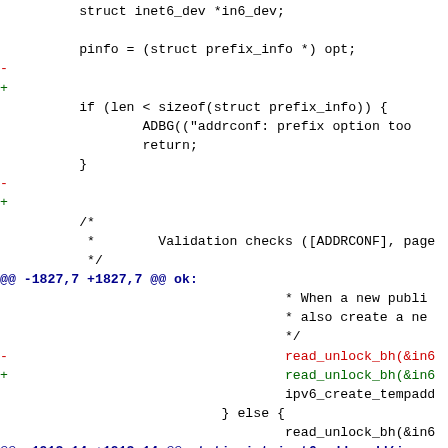diff code block showing kernel network code changes with context lines, removed lines (red -), added lines (green +), and hunk headers (blue @@)